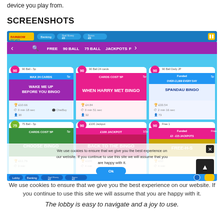device you play from.
SCREENSHOTS
[Figure (screenshot): Bingo lobby screenshot showing multiple bingo rooms including Wake Me Up Before You Bingo, When Harry Met Bingo, Spandau Bingo, Choose Bingo, Back To The Bingo, and Free-H-S rooms with prices and player counts. A cookie consent overlay and navigation bars are visible.]
The lobby is easy to navigate and a joy to use.